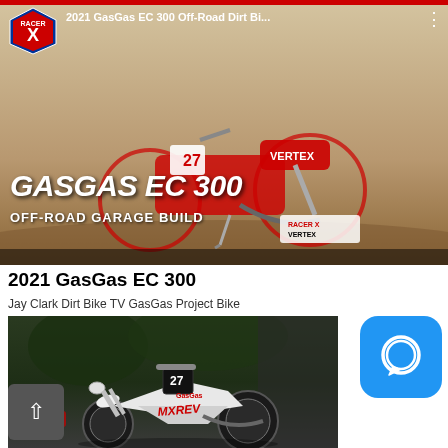[Figure (screenshot): YouTube video thumbnail for 2021 GasGas EC 300 Off-Road Dirt Bike Racer X Garage Build video, showing a red GasGas dirt bike with GASGAS EC 300 OFF-ROAD GARAGE BUILD text overlay and YouTube play button]
2021 GasGas EC 300
Jay Clark Dirt Bike TV GasGas Project Bike
[Figure (photo): Close-up photo of a black and white dirt bike (GasGas project bike) with MXREV graphics, number plate visible, parked outdoors]
[Figure (other): Blue rounded square chat/message app icon with white speech bubble outline]